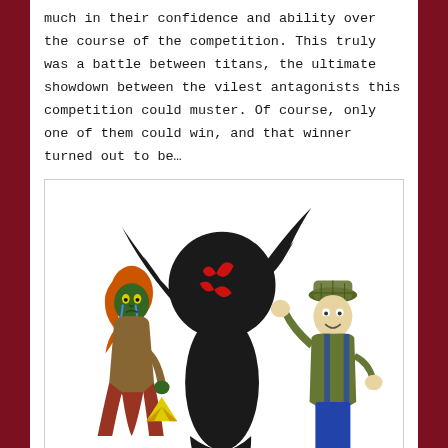much in their confidence and ability over the course of the competition. This truly was a battle between titans, the ultimate showdown between the vilest antagonists this competition could muster. Of course, only one of them could win, and that winner turned out to be…
[Figure (illustration): A hand-drawn illustration showing three cartoon characters: on the left, a green-faced witch-like figure with orange hair, yellow eyes, crying blue tears, wearing ragged brown clothes and holding a yellow triangle (triforce). In the center, a large dark shadowy figure with a black round head featuring red markings, with wing-like arms raised. On the right, a simple cartoon man with a tan face, olive green jacket, blue overalls, and an olive hat, raising one fist in a victory pose.]
"Who has the Power now?"